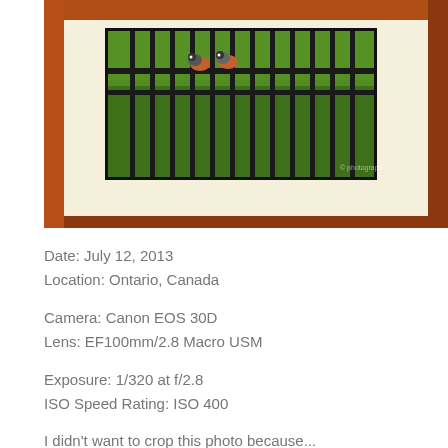[Figure (photo): A framed photograph mounted in a dark red/brown wooden frame with cream matting. The photo shows two birds (robins) perched on a black metal fence with green grass in the background.]
Date: July 12, 2013
Location: Ontario, Canada
Camera: Canon EOS 30D
Lens: EF100mm/2.8 Macro USM
Exposure: 1/320 at f/2.8
ISO Speed Rating: ISO 400
I didn't want to crop this photo because...